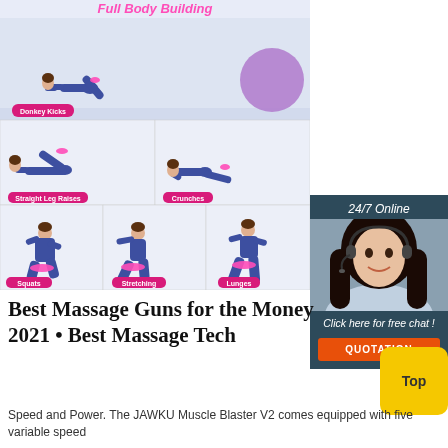[Figure (photo): Full Body Building fitness infographic showing exercises: Donkey Kicks, Straight Leg Raises, Crunches, Squats, Stretching, Lunges — with a woman wearing pink resistance bands performing each exercise.]
[Figure (photo): 24/7 Online chat widget showing a woman with headset, text 'Click here for free chat!' and an orange QUOTATION button.]
Best Massage Guns for the Money 2021 • Best Massage Tech
[Figure (other): Yellow 'Top' button in bottom right corner.]
Speed and Power. The JAWKU Muscle Blaster V2 comes equipped with five variable speed